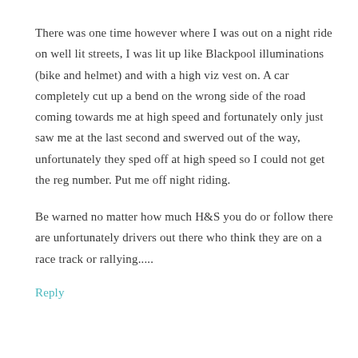There was one time however where I was out on a night ride on well lit streets, I was lit up like Blackpool illuminations (bike and helmet) and with a high viz vest on. A car completely cut up a bend on the wrong side of the road coming towards me at high speed and fortunately only just saw me at the last second and swerved out of the way, unfortunately they sped off at high speed so I could not get the reg number. Put me off night riding.
Be warned no matter how much H&S you do or follow there are unfortunately drivers out there who think they are on a race track or rallying.....
Reply